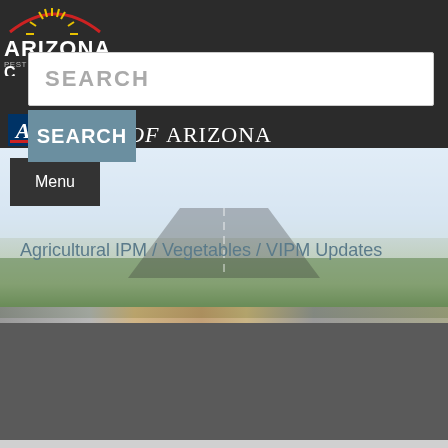[Figure (logo): Arizona Pest Management Center logo with sunburst design on dark background]
SEARCH
SEARCH
ERSITY OF ARIZONA
[Figure (screenshot): University of Arizona website screenshot showing navigation menu and agricultural field background image]
Menu
Agricultural IPM  /  Vegetables  /  VIPM Updates